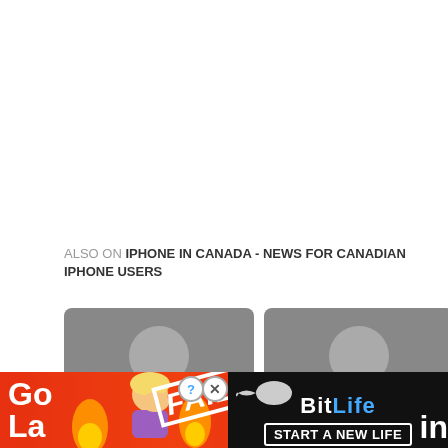ALSO ON IPHONE IN CANADA - NEWS FOR CANADIAN IPHONE USERS
[Figure (screenshot): Two grey placeholder image cards side by side with circular avatar placeholders and mountain silhouette shapes. Left card shows '...s ago • 1 comment', right card shows '8 hours ago • 3 comm...' Left and right navigation arrows are visible.]
[Figure (screenshot): Advertisement banner for BitLife game with red background, FAIL text overlay, cartoon character, sperm logo, BitLife logo and 'START A NEW LIFE' text. Partially overlaid text on left reads 'Go... La... in']